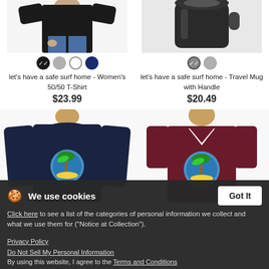[Figure (photo): Women's black t-shirt product photo, cropped at torso]
[Figure (photo): Travel mug with handle product photo, showing lid]
let's have a safe surf home - Women's 50/50 T-Shirt
$23.99
let's have a safe surf home - Travel Mug with Handle
$20.49
[Figure (photo): Women's navy long-sleeve shirt with surf design]
[Figure (photo): Men's maroon V-neck t-shirt with surf design]
We use cookies
Click here to see a list of the categories of personal information we collect and what we use them for ("Notice at Collection").
Privacy Policy
Do Not Sell My Personal Information
By using this website, I agree to the Terms and Conditions
let's have a safe surf home - Women's Wideneck...
let's have a safe surf home - Men's V-Neck T-Shirt...